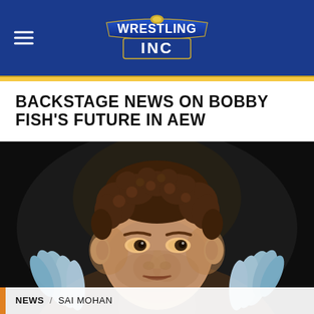Wrestling INC
BACKSTAGE NEWS ON BOBBY FISH'S FUTURE IN AEW
[Figure (photo): Close-up photo of a male professional wrestler with curly brown hair, looking sideways with a skeptical expression, wearing a jacket with light blue feather trim against a dark background. Caption bar reads NEWS / SAI MOHAN.]
NEWS / SAI MOHAN